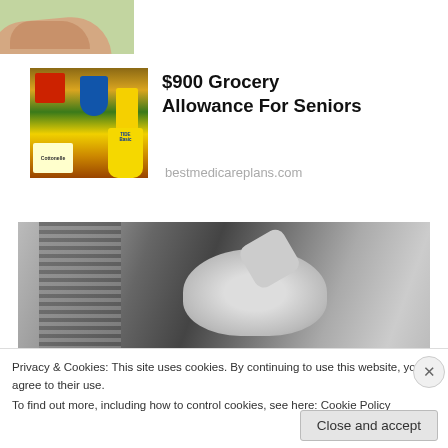[Figure (photo): Partial view of a hand against a green background, cropped at top]
[Figure (photo): Grocery items including Cottonelle, Tide Basic detergent, and various packaged foods]
$900 Grocery Allowance For Seniors
bestmedicareplans.com
[Figure (photo): Black and white vintage photo of a woman with her hand raised to her forehead, looking stressed, standing near window blinds]
Privacy & Cookies: This site uses cookies. By continuing to use this website, you agree to their use.
To find out more, including how to control cookies, see here: Cookie Policy
Close and accept